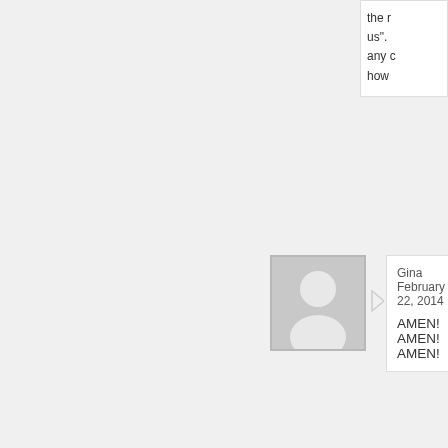the r us". any c how
Gina February 22, 2014
AMEN! AMEN! AMEN!
back to top ↑
Brenda February 22, 2014
Thank you for sharing your thoughts here
Trish Wagler February 22, 2014
Very well stated.
Dean May February 22, 2014